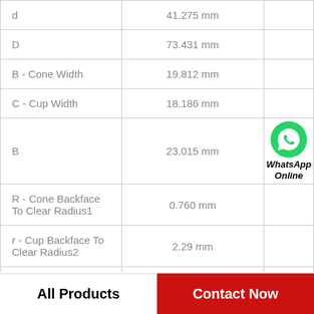| Parameter | Value |  |
| --- | --- | --- |
| d | 41.275 mm |  |
| D | 73.431 mm |  |
| B - Cone Width | 19.812 mm |  |
| C - Cup Width | 18.186 mm |  |
| B | 23.015 mm | WhatsApp Online |
| R - Cone Backface To Clear Radius1 | 0.760 mm |  |
| r - Cup Backface To Clear Radius2 | 2.29 mm |  |
| da - Cone Frontface Backing Diameter | 46.48 mm |  |
All Products
Contact Now